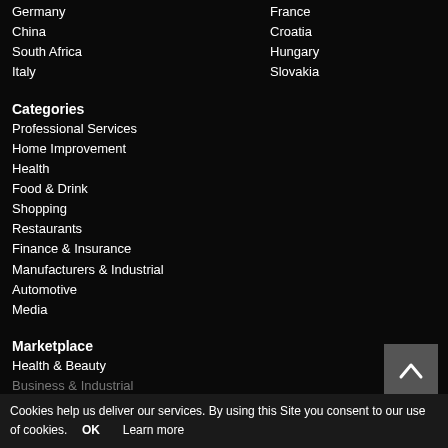Germany
France
China
Croatia
South Africa
Hungary
Italy
Slovakia
Categories
Professional Services
Home Improvement
Health
Food & Drink
Shopping
Restaurants
Finance & Insurance
Manufacturers & Industrial
Automotive
Media
Marketplace
Health & Beauty
Business & Industrial
Clothing & Accessories
Furniture
Electronics
Cookies help us deliver our services. By using this Site you consent to our use of cookies. OK Learn more